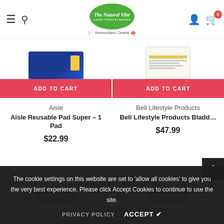[Figure (screenshot): Website header for 'The Natural Vibe' with hamburger menu, search icon, green oval logo, user icon, and cart icon showing 0 items. Below the header are two product listings with 'ADD TO CART' buttons, product names, brands, and prices. Two 'Sold Out' buttons appear at bottom. A cookie consent banner overlays the bottom of the page.]
ADD TO CART
ADD TO CART
Aisle
Bell Lifestyle Products
Aisle Reusable Pad Super - 1 Pad
Bell Lifestyle Products Bladd...
$22.99
$47.99
Sold Out
Sold Out
The cookie settings on this website are set to 'allow all cookies' to give you the very best experience. Please click Accept Cookies to continue to use the site.
PRIVACY POLICY    ACCEPT ✔